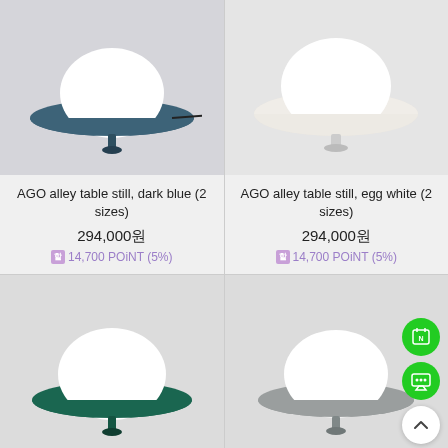[Figure (photo): AGO alley table lamp with white globe and dark blue disc-shaped base/shade on grey background]
[Figure (photo): AGO alley table lamp with white globe and egg white disc-shaped shade on light grey background]
AGO alley table still, dark blue (2 sizes)
294,000원
14,700 POiNT (5%)
AGO alley table still, egg white (2 sizes)
294,000원
14,700 POiNT (5%)
[Figure (photo): AGO alley table lamp with white globe and dark green disc-shaped base/shade on grey background]
[Figure (photo): AGO alley table lamp with white globe and grey disc-shaped base/shade on grey background, with floating action buttons]